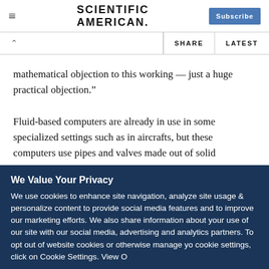SCIENTIFIC AMERICAN
mathematical objection to this working — just a huge practical objection.”
Fluid-based computers are already in use in some specialized settings such as in aircrafts, but these computers use pipes and valves made out of solid materials. Tao’s computer would have to be made entirely out of water.
We Value Your Privacy
We use cookies to enhance site navigation, analyze site usage & personalize content to provide social media features and to improve our marketing efforts. We also share information about your use of our site with our social media, advertising and analytics partners. To opt out of website cookies or otherwise manage your cookie settings, click on Cookie Settings. View O...